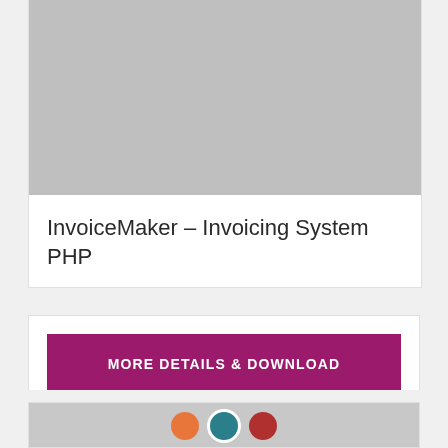[Figure (screenshot): Gray placeholder image area at the top of a product card]
InvoiceMaker – Invoicing System PHP
MORE DETAILS & DOWNLOAD
[Figure (screenshot): Bottom card with partial preview showing colored icons on gray background]